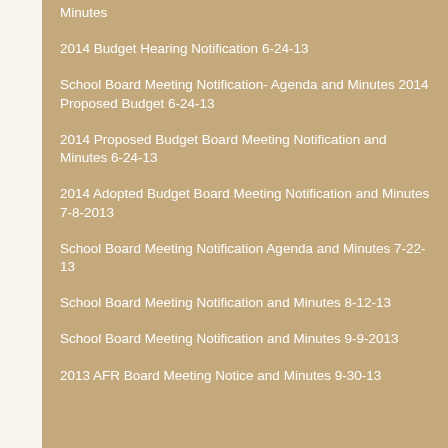Minutes
2014 Budget Hearing Notification 6-24-13
School Board Meeting Notification- Agenda and Minutes 2014 Proposed Budget 6-24-13
2014 Proposed Budget Board Meeting Notification and Minutes 6-24-13
2014 Adopted Budget Board Meeting Notification and Minutes 7-8-2013
School Board Meeting Notification Agenda and Minutes 7-22-13
School Board Meeting Notification and Minutes 8-12-13
School Board Meeting Notification and Minutes 9-9-2013
2013 AFR Board Meeting Notice and Minutes 9-30-13